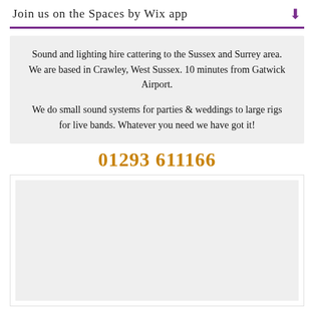Join us on the Spaces by Wix app
Sound and lighting hire cattering to the Sussex and Surrey area. We are based in Crawley, West Sussex. 10 minutes from Gatwick Airport.
We do small sound systems for parties & weddings to large rigs for live bands. Whatever you need we have got it!
01293 611166
[Figure (photo): A placeholder image area (light grey box)]
HAVING A WEDDING?